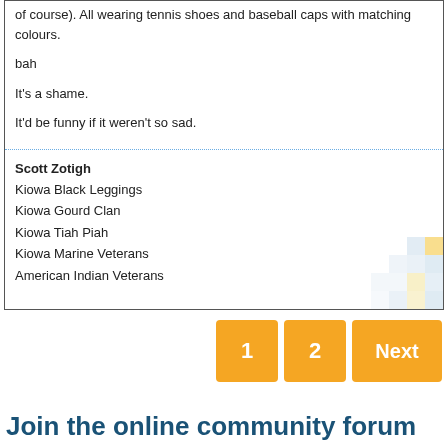of course). All wearing tennis shoes and baseball caps with matching colours.
bah
It's a shame.
It'd be funny if it weren't so sad.
Scott Zotigh
Kiowa Black Leggings
Kiowa Gourd Clan
Kiowa Tiah Piah
Kiowa Marine Veterans
American Indian Veterans
1  2  Next
Join the online community forum